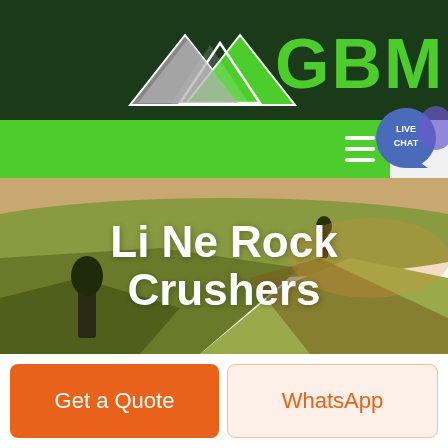[Figure (logo): GBM logo with mountain/arrow icon in white/gray on dark green background, with bright green GBM text]
[Figure (screenshot): Green navigation bar with hamburger menu icon and Live Chat bubble on the right]
[Figure (photo): Aerial landscape photo of rolling green and brown agricultural fields with trees, used as hero background]
Li Ne Rock Crushers
Get a Quote
WhatsApp